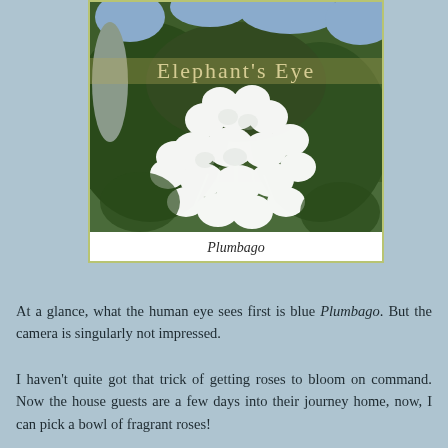[Figure (photo): A close-up photograph of white Plumbago flowers (Plumbago auriculata alba) with green foliage in the background, and blue Plumbago visible at the top. The blog title 'Elephant's Eye' is overlaid in stylized text across the upper portion of the image.]
Plumbago
At a glance, what the human eye sees first is blue Plumbago. But the camera is singularly not impressed.
I haven't quite got that trick of getting roses to bloom on command. Now the house guests are a few days into their journey home, now, I can pick a bowl of fragrant roses!